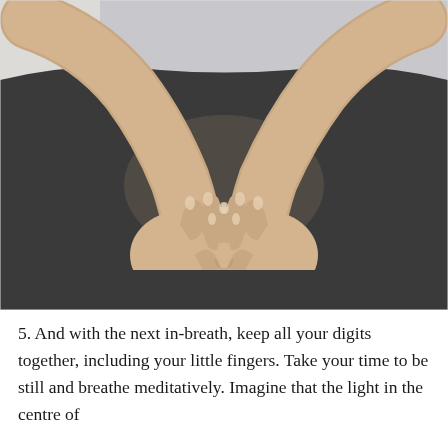[Figure (photo): Close-up photo of a person in a dark grey/charcoal top, with both hands placed on their abdomen/stomach area, fingertips touching to form a triangular or heart-like shape. The background is light/white on the left side.]
5. And with the next in-breath, keep all your digits together, including your little fingers. Take your time to be still and breathe meditatively. Imagine that the light in the centre of